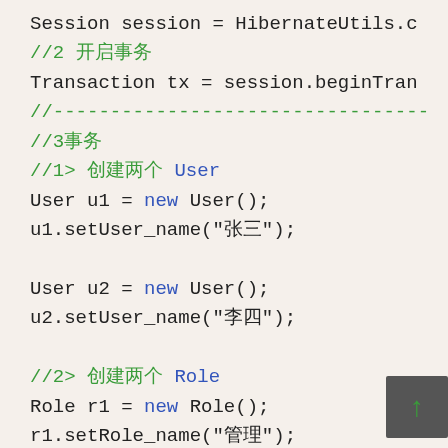Session session = HibernateUtils.c
//2 开启事务
Transaction tx = session.beginTran
//---------------------------------
//3事务
//1> 创建两个 User
User u1 = new User();
u1.setUser_name("张三");

User u2 = new User();
u2.setUser_name("李四");

//2> 创建两个 Role
Role r1 = new Role();
r1.setRole_name("管理");

Role r2 = new Role();
r2.setRole_name("用户");
//3> 建立关联关系
u1.getRoles().add(r1);